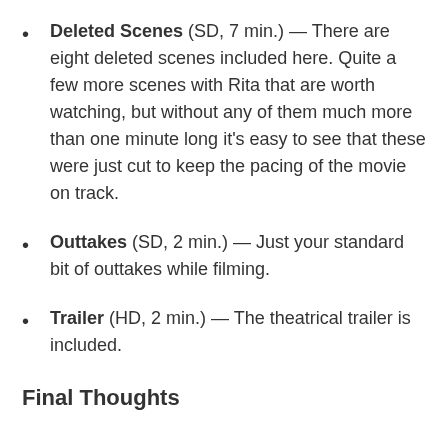Deleted Scenes (SD, 7 min.) — There are eight deleted scenes included here. Quite a few more scenes with Rita that are worth watching, but without any of them much more than one minute long it's easy to see that these were just cut to keep the pacing of the movie on track.
Outtakes (SD, 2 min.) — Just your standard bit of outtakes while filming.
Trailer (HD, 2 min.) — The theatrical trailer is included.
Final Thoughts